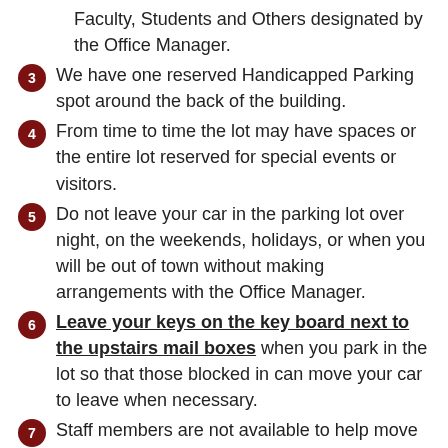Faculty, Students and Others designated by the Office Manager.
3. We have one reserved Handicapped Parking spot around the back of the building.
4. From time to time the lot may have spaces or the entire lot reserved for special events or visitors.
5. Do not leave your car in the parking lot over night, on the weekends, holidays, or when you will be out of town without making arrangements with the Office Manager.
6. Leave your keys on the key board next to the upstairs mail boxes when you park in the lot so that those blocked in can move your car to leave when necessary.
7. Staff members are not available to help move cars in the parking lot.
8. If you have the option of using a PSR lot or